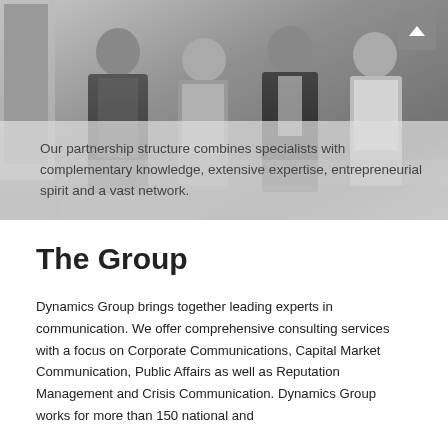[Figure (photo): Black and white group photo of four business professionals (two men, two women) in formal attire standing together, with a navigation arrow button in the top right corner]
Our partnership structure combines specialists with complementary knowledge, extensive expertise, entrepreneurial spirit and a vast network.
The Group
Dynamics Group brings together leading experts in communication. We offer comprehensive consulting services with a focus on Corporate Communications, Capital Market Communication, Public Affairs as well as Reputation Management and Crisis Communication. Dynamics Group works for more than 150 national and